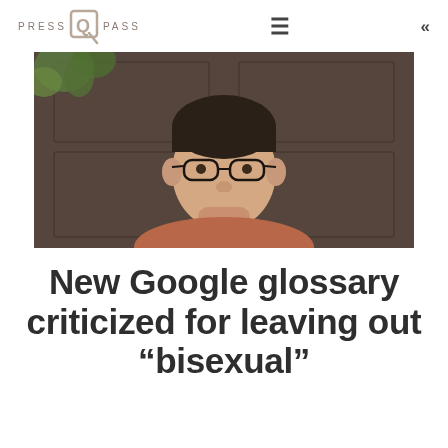PRESS Q PASS
[Figure (photo): Portrait photo of a man with glasses wearing a rust/brown t-shirt, resting his chin on his fist, seated in front of a dark door with greenery visible in the upper left.]
New Google glossary criticized for leaving out “bisexual”